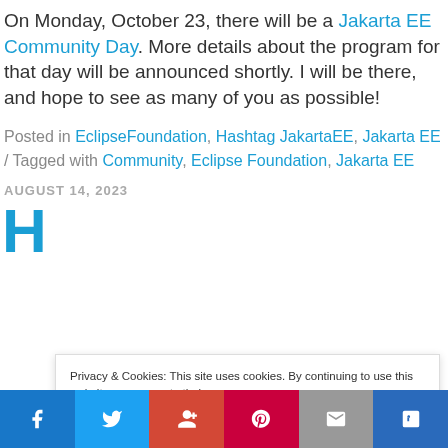On Monday, October 23, there will be a Jakarta EE Community Day. More details about the program for that day will be announced shortly. I will be there, and hope to see as many of you as possible!
Posted in EclipseFoundation, Hashtag JakartaEE, Jakarta EE / Tagged with Community, Eclipse Foundation, Jakarta EE
AUGUST 14, 2023
H
Privacy & Cookies: This site uses cookies. By continuing to use this website, you agree to their use. To find out more, including how to control cookies, see here: Cookie Policy